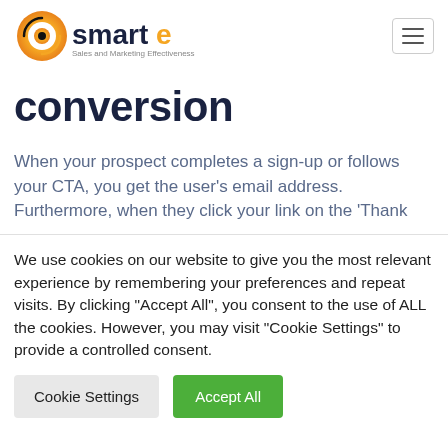[Figure (logo): Smarte logo — orange circular icon with stylized G and C, text 'Smarte' with orange E, subtitle 'Sales and Marketing Effectiveness']
conversion
When your prospect completes a sign-up or follows your CTA, you get the user's email address. Furthermore, when they click your link on the 'Thank
We use cookies on our website to give you the most relevant experience by remembering your preferences and repeat visits. By clicking "Accept All", you consent to the use of ALL the cookies. However, you may visit "Cookie Settings" to provide a controlled consent.
Cookie Settings | Accept All